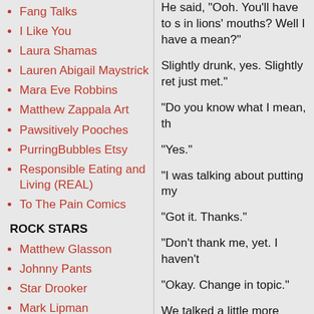Fang Talks
I Like You
Laura Shamas
Lauren Abigail Maystrick
Mara Eve Robbins
Matthew Zappala Art
Pawsitively Pooches
PurringBubbles Etsy
Responsible Eating and Living (REAL)
To The Pain Comics
ROCK STARS
Matthew Glasson
Johnny Pants
Star Drooker
Mark Lipman
Alexander Wiklund
Sweet Wednesday
He said, "Ooh. You'll have to s in lions' mouths? Well I have a mean?"
Slightly drunk, yes. Slightly ret just met."
"Do you know what I mean, th
"Yes."
"I was talking about putting my
"Got it. Thanks."
"Don't thank me, yet. I haven't
"Okay. Change in topic."
We talked a little more about C and grabbed my stuff.